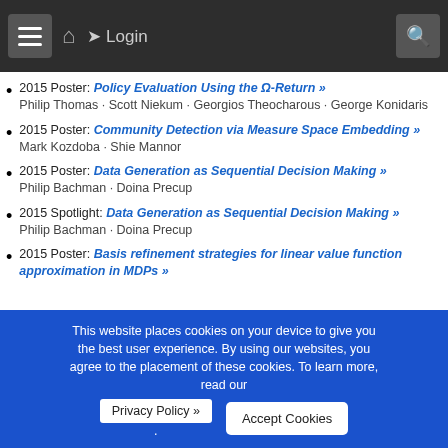[Figure (screenshot): Navigation bar with menu, home, login, and search icons on dark background]
2015 Poster: Policy Evaluation Using the Ω-Return » Philip Thomas · Scott Niekum · Georgios Theocharous · George Konidaris
2015 Poster: Community Detection via Measure Space Embedding » Mark Kozdoba · Shie Mannor
2015 Poster: Data Generation as Sequential Decision Making » Philip Bachman · Doina Precup
2015 Spotlight: Data Generation as Sequential Decision Making » Philip Bachman · Doina Precup
2015 Poster: Basis refinement strategies for linear value function approximation in MDPs »
This website places cookies on your device to give you the best user experience. By using our websites, you agree to the placement of these cookies. To learn more, read our Privacy Policy ».